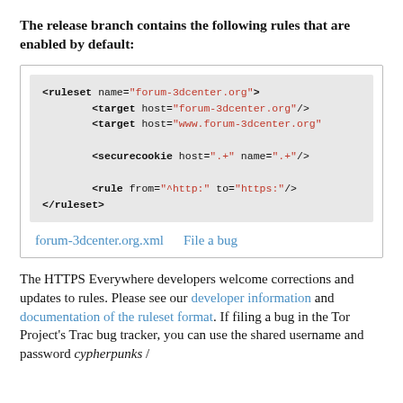The release branch contains the following rules that are enabled by default:
[Figure (screenshot): Code box showing XML ruleset for forum-3dcenter.org with target hosts, securecookie, and rule elements, plus links to forum-3dcenter.org.xml and File a bug]
The HTTPS Everywhere developers welcome corrections and updates to rules. Please see our developer information and documentation of the ruleset format. If filing a bug in the Tor Project's Trac bug tracker, you can use the shared username and password cypherpunks /